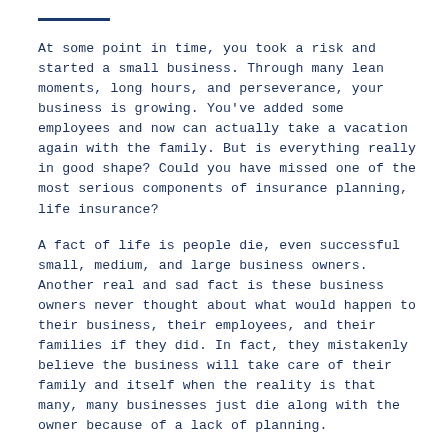At some point in time, you took a risk and started a small business. Through many lean moments, long hours, and perseverance, your business is growing. You've added some employees and now can actually take a vacation again with the family. But is everything really in good shape? Could you have missed one of the most serious components of insurance planning, life insurance?
A fact of life is people die, even successful small, medium, and large business owners. Another real and sad fact is these business owners never thought about what would happen to their business, their employees, and their families if they did. In fact, they mistakenly believe the business will take care of their family and itself when the reality is that many, many businesses just die along with the owner because of a lack of planning.
You have a lease or a mortgage, capital loans, payroll and